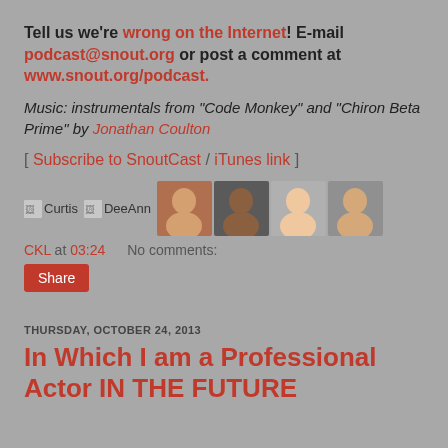Tell us we're wrong on the Internet! E-mail podcast@snout.org or post a comment at www.snout.org/podcast.
Music: instrumentals from "Code Monkey" and "Chiron Beta Prime" by Jonathan Coulton
[ Subscribe to SnoutCast / iTunes link ]
[Figure (photo): Row of avatars: icons for Curtis and DeeAnn, plus four small portrait photos]
CKL at 03:24   No comments:
Share
THURSDAY, OCTOBER 24, 2013
In Which I am a Professional Actor IN THE FUTURE